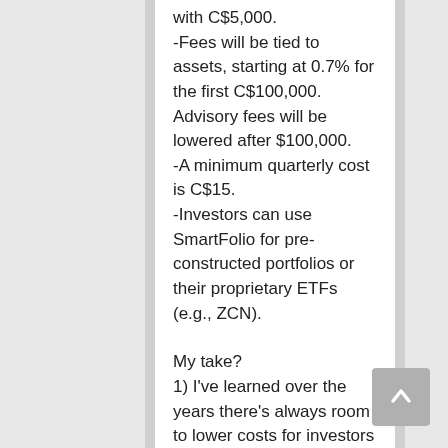with C$5,000. -Fees will be tied to assets, starting at 0.7% for the first C$100,000. Advisory fees will be lowered after $100,000. -A minimum quarterly cost is C$15. -Investors can use SmartFolio for pre-constructed portfolios or their proprietary ETFs (e.g., ZCN).
My take? 1) I've learned over the years there's always room to lower costs for investors but it seems